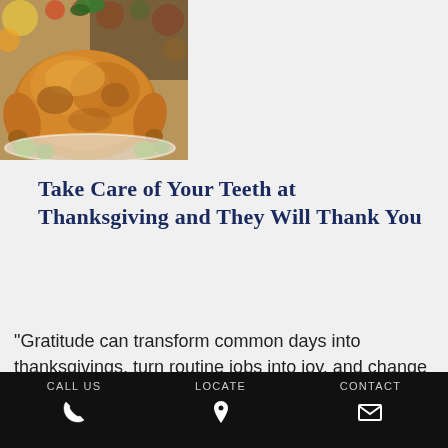[Figure (photo): A roasted turkey/chicken on a serving dish with vegetables, colorful bokeh lights in the background]
Take Care of Your Teeth at Thanksgiving and They Will Thank You
“Gratitude can transform common days into thanksgivings, turn routine jobs into joy, and change ordinary opportunities into blessings.” — William Arthur Ward. Thanksgiving is the perfect time to be
CALL US   LOCATE   CONTACT